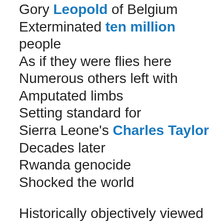Gory Leopold of Belgium
Exterminated ten million people
As if they were flies here
Numerous others left with
Amputated limbs
Setting standard for
Sierra Leone's Charles Taylor
Decades later
Rwanda genocide
Shocked the world
Historically objectively viewed
Replacement Theory
In practice
Gave us colonialism
Gave me Apartheid
As welcome to earth present